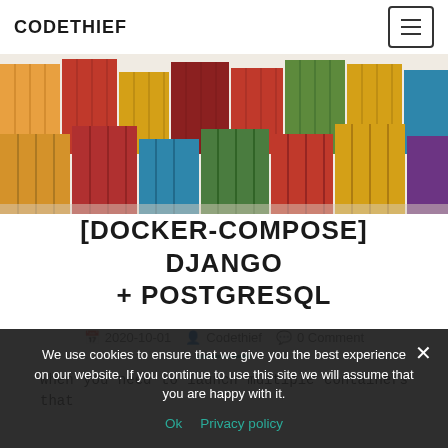CODETHIEF
[Figure (photo): Colorful stacked shipping containers — yellow, red, blue, green — stacked at a port.]
[DOCKER-COMPOSE] DJANGO + POSTGRESQL
2020-10-01  Codethief  0 Comment
When you need to launch multiple containers that